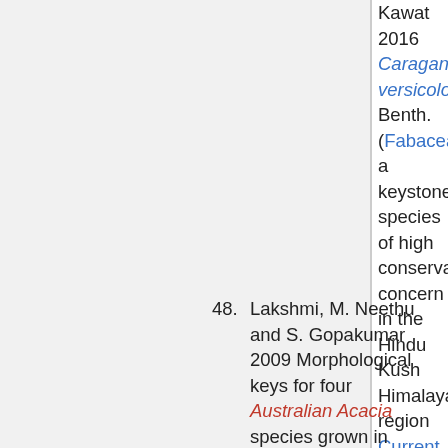Kawat 2016 Caragana versicolor Benth. (Fabaceae), a keystone species of high conservation concern in the Hindu Kush Himalayan region Current Sci. 111 (6) 985-987
48. Lakshmi, M. Neethu and S. Gopakumar 2009 Morphological keys for four Australian Acacia species grown in Kerala, India Journal of Tropical Agriculture 47 (1-2) :